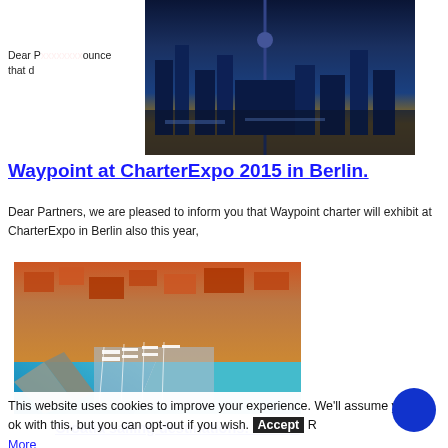Waypoint at CharterExpo 2015 in Berlin.
[Figure (photo): Aerial night photo of Berlin city skyline with illuminated buildings and river]
Dear Partners, we are pleased to inform you that Waypoint charter will exhibit at CharterExpo in Berlin also this year,
[Figure (photo): Aerial photo of Croatian coastal marina town with sailboats and turquoise water]
Croatia sailing destinations: Vodice
This website uses cookies to improve your experience. We'll assume you're ok with this, but you can opt-out if you wish. Accept Read More